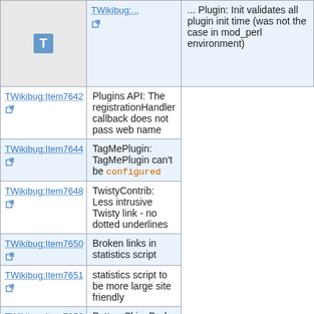| Item | Description |
| --- | --- |
| TWikibug:Item7642 | Plugins API: The registrationHandler callback does not pass web name |
| TWikibug:Item7644 | TagMePlugin: TagMePlugin can't be configured |
| TWikibug:Item7648 | TwistyContrib: Less intrusive Twisty link - no dotted underlines |
| TWikibug:Item7650 | Broken links in statistics script |
| TWikibug:Item7651 | statistics script to be more large site friendly |
| TWikibug:Item7652 | PatternSkin: Dark on dark links in table headers |
| TWikibug:Item7653 | TOPICTITLE is empty if Title form field is empty |
| TWikibug:Item7658 | Include and other error messages have too much whitespace |
| TWikibug:Item7659 | tools/tick_twiki.pl does not remove |